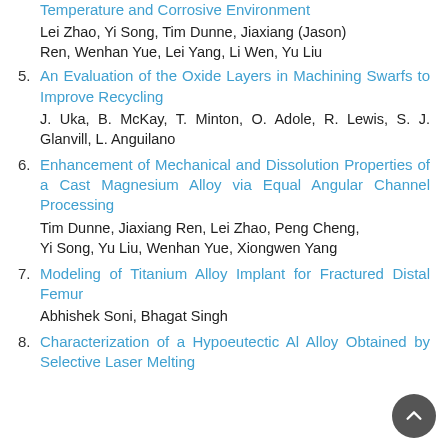Temperature and Corrosive Environment
Lei Zhao, Yi Song, Tim Dunne, Jiaxiang (Jason) Ren, Wenhan Yue, Lei Yang, Li Wen, Yu Liu
5. An Evaluation of the Oxide Layers in Machining Swarfs to Improve Recycling
J. Uka, B. McKay, T. Minton, O. Adole, R. Lewis, S. J. Glanvill, L. Anguilano
6. Enhancement of Mechanical and Dissolution Properties of a Cast Magnesium Alloy via Equal Angular Channel Processing
Tim Dunne, Jiaxiang Ren, Lei Zhao, Peng Cheng, Yi Song, Yu Liu, Wenhan Yue, Xiongwen Yang
7. Modeling of Titanium Alloy Implant for Fractured Distal Femur
Abhishek Soni, Bhagat Singh
8. Characterization of a Hypoeutectic Al Alloy Obtained by Selective Laser Melting